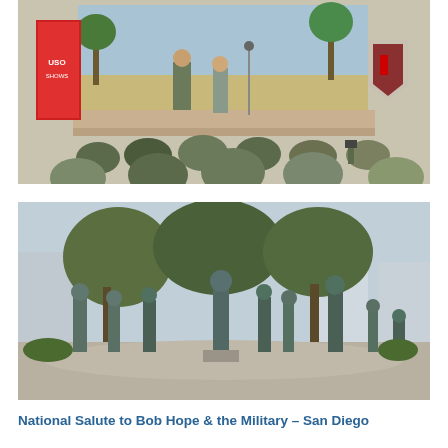[Figure (photo): Color photograph of a military USO-style show on an outdoor stage. Two performers stand center stage in front of a painted beach backdrop. Audience of soldiers in military fatigues and caps viewed from behind in foreground. A red and white shield insignia visible on stage right.]
[Figure (photo): Color photograph of the National Salute to Bob Hope and the Military sculpture installation in San Diego. Multiple bronze statues of figures in various poses arranged on a circular plaza, with trees and urban buildings in the background.]
National Salute to Bob Hope & the Military – San Diego